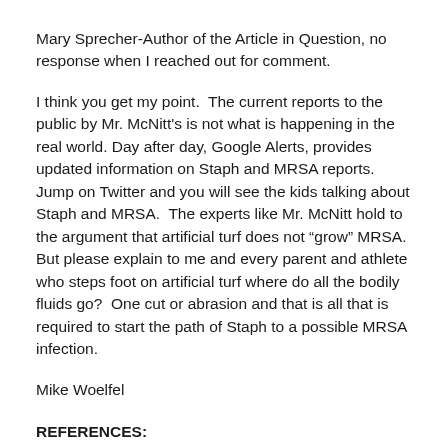Mary Sprecher-Author of the Article in Question, no response when I reached out for comment.
I think you get my point.  The current reports to the public by Mr. McNitt's is not what is happening in the real world. Day after day, Google Alerts, provides updated information on Staph and MRSA reports.  Jump on Twitter and you will see the kids talking about Staph and MRSA.  The experts like Mr. McNitt hold to the argument that artificial turf does not “grow” MRSA.  But please explain to me and every parent and athlete who steps foot on artificial turf where do all the bodily fluids go?  One cut or abrasion and that is all that is required to start the path of Staph to a possible MRSA infection.
Mike Woelfel
REFERENCES: